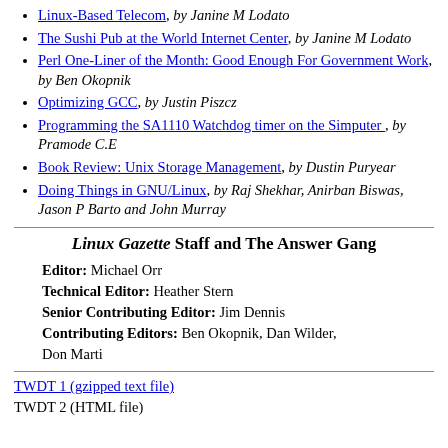Linux-Based Telecom, by Janine M Lodato
The Sushi Pub at the World Internet Center, by Janine M Lodato
Perl One-Liner of the Month: Good Enough For Government Work, by Ben Okopnik
Optimizing GCC, by Justin Piszcz
Programming the SA1110 Watchdog timer on the Simputer , by Pramode C.E
Book Review: Unix Storage Management, by Dustin Puryear
Doing Things in GNU/Linux, by Raj Shekhar, Anirban Biswas, Jason P Barto and John Murray
Linux Gazette Staff and The Answer Gang
Editor: Michael Orr
Technical Editor: Heather Stern
Senior Contributing Editor: Jim Dennis
Contributing Editors: Ben Okopnik, Dan Wilder, Don Marti
TWDT 1 (gzipped text file)
TWDT 2 (HTML file)